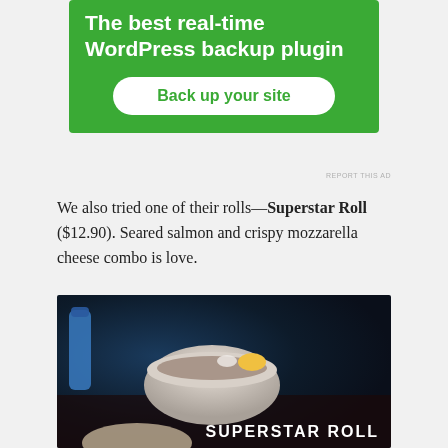[Figure (other): Green advertisement banner for WordPress backup plugin with white bold text 'The best real-time WordPress backup plugin' and a white rounded button saying 'Back up your site']
REPORT THIS AD
We also tried one of their rolls—Superstar Roll ($12.90). Seared salmon and crispy mozzarella cheese combo is love.
[Figure (photo): Food photo showing a white bowl with food items on a dark background, with text 'SUPERSTAR ROLL' overlaid in white in the bottom right corner]